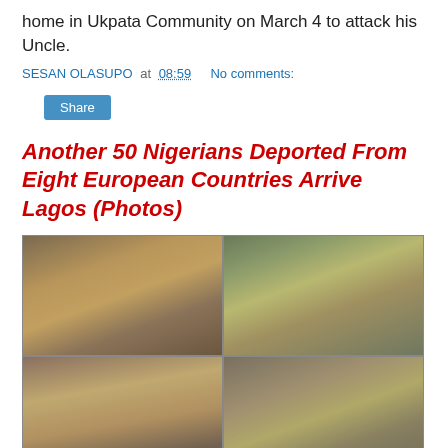home in Ukpata Community on March 4 to attack his Uncle.
SESAN OLASUPO at 08:59   No comments:
Another 50 Nigerians Deported From Eight European Countries Arrive Lagos (Photos)
[Figure (photo): Four-panel photo grid showing deported Nigerians with luggage at what appears to be an arrival area with red/orange dirt ground]
Some 50 Nigerians were on Thursday deported from eight European countries for committing immigration-related off...